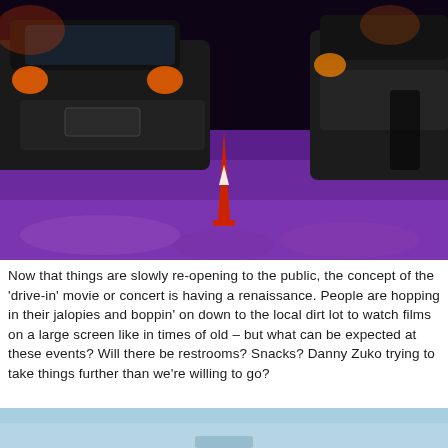[Figure (photo): Dark nighttime scene of cars parked at a drive-in event with purple/violet lighting on the ground. A traffic cone is visible in the foreground between vehicles.]
Now that things are slowly re-opening to the public, the concept of the 'drive-in' movie or concert is having a renaissance. People are hopping in their jalopies and boppin' on down to the local dirt lot to watch films on a large screen like in times of old – but what can be expected at these events? Will there be restrooms? Snacks? Danny Zuko trying to take things further than we're willing to go?
[Figure (photo): Bottom portion of a light blue sky image, partially visible at the bottom of the page.]